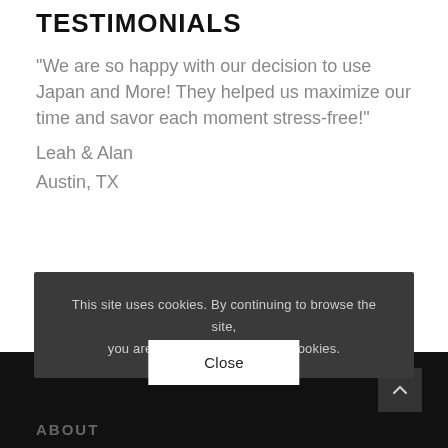TESTIMONIALS
“We are so happy with our decision to use Japan and More! They helped us maximize our time and savor each moment stress-free!”
Leah & Alan
Austin, TX
This site uses cookies. By continuing to browse the site, you are agreeing to our use of cookies.
Close
ABOUT